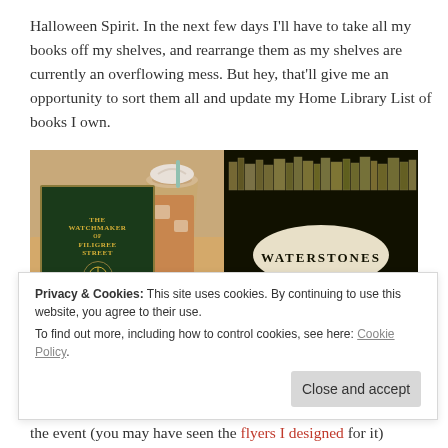Halloween Spirit. In the next few days I'll have to take all my books off my shelves, and rearrange them as my shelves are currently an overflowing mess. But hey, that'll give me an opportunity to sort them all and update my Home Library List of books I own.
[Figure (photo): Two-panel photo: left shows a copy of 'The Watchmaker of Filigree Street' by Natasha Pulley next to an iced drink on a wooden table; right shows a Waterstones shopping bag with bookshelf design and oval logo.]
Privacy & Cookies: This site uses cookies. By continuing to use this website, you agree to their use.
To find out more, including how to control cookies, see here: Cookie Policy
the event (you may have seen the flyers I designed for it)